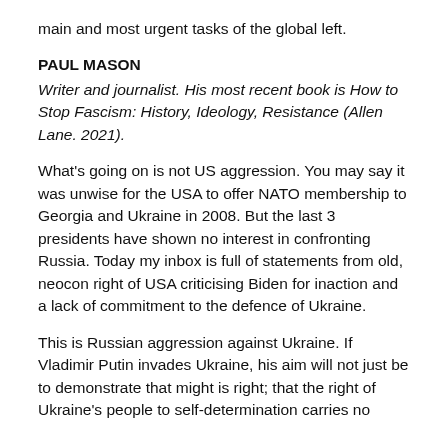main and most urgent tasks of the global left.
PAUL MASON
Writer and journalist. His most recent book is How to Stop Fascism: History, Ideology, Resistance (Allen Lane. 2021).
What’s going on is not US aggression. You may say it was unwise for the USA to offer NATO membership to Georgia and Ukraine in 2008. But the last 3 presidents have shown no interest in confronting Russia. Today my inbox is full of statements from old, neocon right of USA criticising Biden for inaction and a lack of commitment to the defence of Ukraine.
This is Russian aggression against Ukraine. If Vladimir Putin invades Ukraine, his aim will not just be to demonstrate that might is right; that the right of Ukraine’s people to self-determination carries no